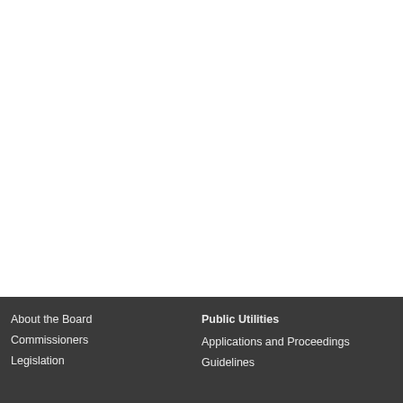About the Board
Commissioners
Legislation

Public Utilities
Applications and Proceedings
Guidelines